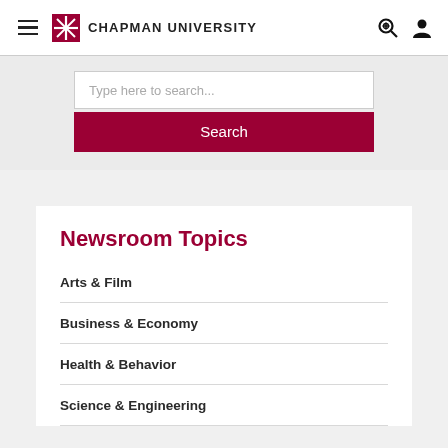Chapman University
Type here to search...
Search
Newsroom Topics
Arts & Film
Business & Economy
Health & Behavior
Science & Engineering